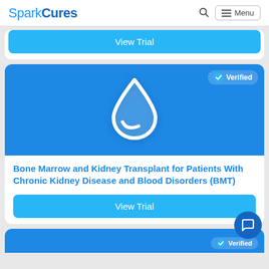SparkCures
[Figure (screenshot): View Trial button from a partially visible card at the top]
[Figure (illustration): Blue card with a white water drop / kidney icon and a Verified badge in the top right corner]
Bone Marrow and Kidney Transplant for Patients With Chronic Kidney Disease and Blood Disorders (BMT)
[Figure (screenshot): View Trial button for the BMT clinical trial card]
[Figure (screenshot): Bottom partial blue card with Verified badge, partially visible]